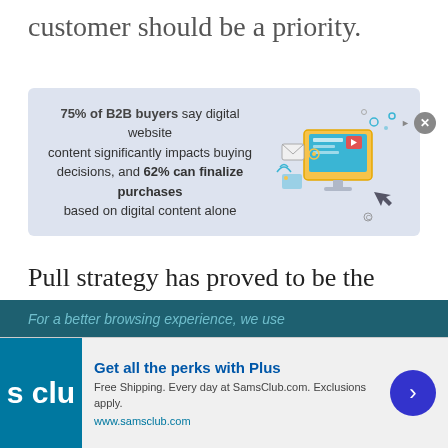customer should be a priority.
[Figure (infographic): Infographic banner with light blue/grey background. Text reads: '75% of B2B buyers say digital website content significantly impacts buying decisions, and 62% can finalize purchases based on digital content alone'. Right side shows a digital/tech illustration with monitor, icons, and connectivity graphics.]
Pull strategy has proved to be the most effective and generates a consistent lead flow. The transportation business is not just decades old; it's one of the oldest companies that evolved
For a better browsing experience, we use
[Figure (infographic): Advertisement for Sam's Club Plus membership. Blue logo on left showing 's clu'. Ad text: 'Get all the perks with Plus. Free Shipping. Every day at SamsClub.com. Exclusions apply. www.samsclub.com'. Blue circular arrow button on right.]